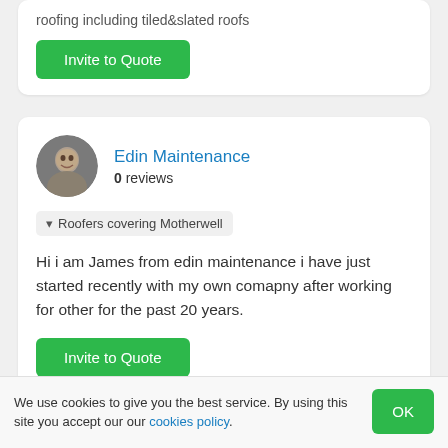roofing including tiled&slated roofs
Invite to Quote
Edin Maintenance
0 reviews
Roofers covering Motherwell
Hi i am James from edin maintenance i have just started recently with my own comapny after working for other for the past 20 years.
Invite to Quote
We use cookies to give you the best service. By using this site you accept our our cookies policy.